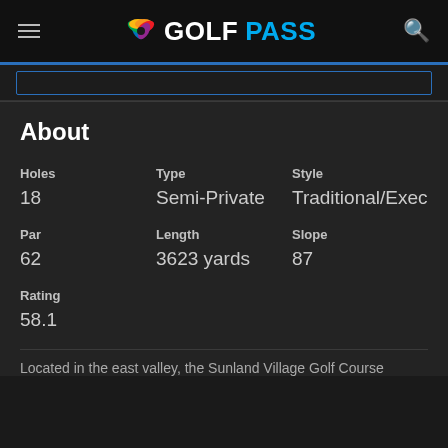GOLFPASS
About
| Holes | Type | Style |
| --- | --- | --- |
| 18 | Semi-Private | Traditional/Executi |
| Par | Length | Slope |
| --- | --- | --- |
| 62 | 3623 yards | 87 |
| Rating |
| --- |
| 58.1 |
Located in the east valley, the Sunland Village Golf Course